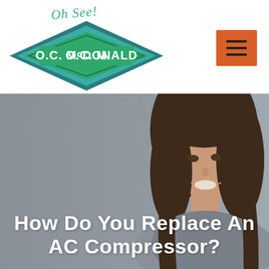[Figure (logo): O.C. McDonald company logo with teal diamond shape and 'Oh See!' script text above]
[Figure (other): Orange hamburger menu button with three horizontal lines]
[Figure (photo): Hero banner image with gray background and smiling brunette woman on the right side]
How Do You Replace An AC Compressor?